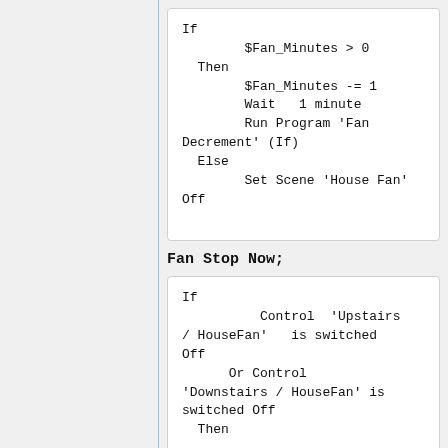If
        $Fan_Minutes > 0
  Then
        $Fan_Minutes -= 1
        Wait   1 minute
        Run Program 'Fan Decrement' (If)
  Else
        Set Scene 'House Fan' Off
Fan Stop Now;
If
          Control  'Upstairs / HouseFan'   is switched Off
     Or Control 'Downstairs / HouseFan' is switched Off
  Then